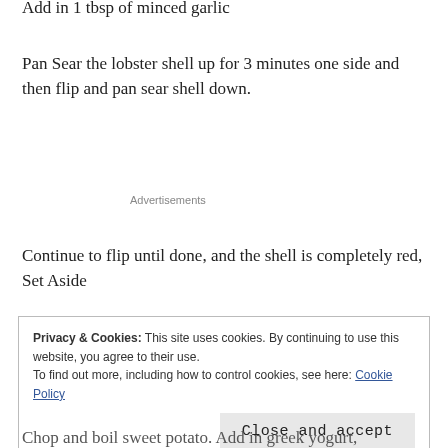Add in 1 tbsp of minced garlic
Pan Sear the lobster shell up for 3 minutes one side and then flip and pan sear shell down.
Advertisements
Continue to flip until done, and the shell is completely red, Set Aside
Privacy & Cookies: This site uses cookies. By continuing to use this website, you agree to their use.
To find out more, including how to control cookies, see here: Cookie Policy
Close and accept
Chop and boil sweet potato. Add in greek yogurt,